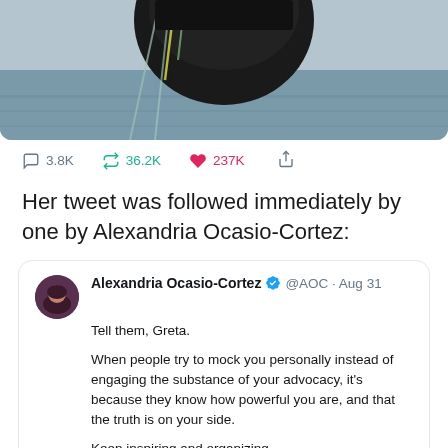[Figure (photo): Partial photo of a person in a black jacket on a boat, cropped at top]
3.8K  36.2K  237K
Her tweet was followed immediately by one by Alexandria Ocasio-Cortez:
[Figure (screenshot): Tweet by Alexandria Ocasio-Cortez @AOC · Aug 31: Tell them, Greta. When people try to mock you personally instead of engaging the substance of your advocacy, it's because they know how powerful you are, and that the truth is on your side. Keep inspiring and organizing. We're going to save the planet. All of us, together. 🌍]